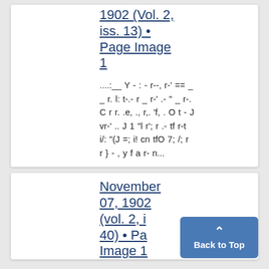1902 (Vol. 2, iss. 13) • Page Image 1
....:__ Y - : - r--, r-' == _ _ r. l: t-.- r _ r-' .- " _ r-. C r r. .e, ., r,. 'f, . O t - J vr-' .. J 1 "l r'; r .- tf r-t i/: "(J =; i! cn tfO 7; /; r r } - , y f a r- n...
November 07, 1902 (vol. 2, i... 40) • Pa... Image 1...